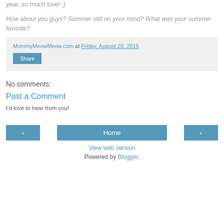year..so much love! :)
How about you guys? Summer still on your mind? What was your summer favorite?
MommyMeowMeow.com at Friday, August 28, 2015
Share
No comments:
Post a Comment
I'd love to hear from you!
‹ Home › View web version Powered by Blogger.